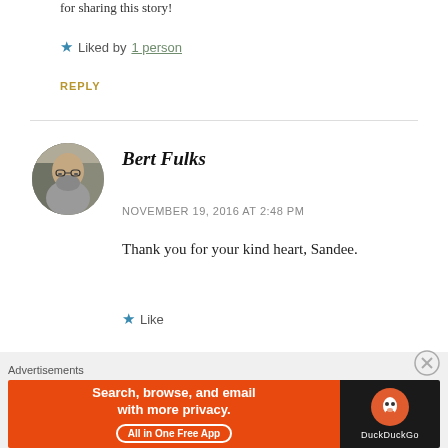for sharing this story!
★ Liked by 1 person
REPLY
[Figure (photo): Circular avatar photo of Bert Fulks, a bearded man with glasses]
Bert Fulks
NOVEMBER 19, 2016 AT 2:48 PM
Thank you for your kind heart, Sandee.
★ Like
REPLY
[Figure (infographic): DuckDuckGo advertisement banner: Search, browse, and email with more privacy. All in One Free App.]